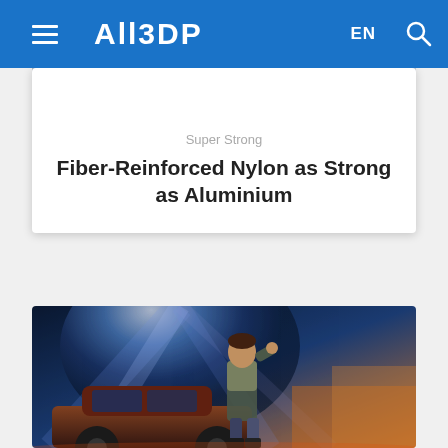ALL3DP | EN
Fiber-Reinforced Nylon as Strong as Aluminium
Super Strong
[Figure (photo): Back to the Future movie poster style image showing a young man leaning against a car with dramatic blue light rays and a glowing background]